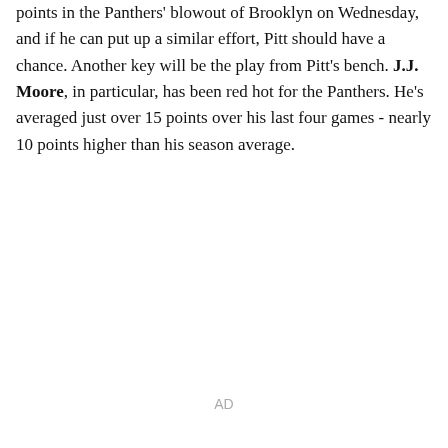points in the Panthers' blowout of Brooklyn on Wednesday, and if he can put up a similar effort, Pitt should have a chance. Another key will be the play from Pitt's bench. J.J. Moore, in particular, has been red hot for the Panthers. He's averaged just over 15 points over his last four games - nearly 10 points higher than his season average.
AD